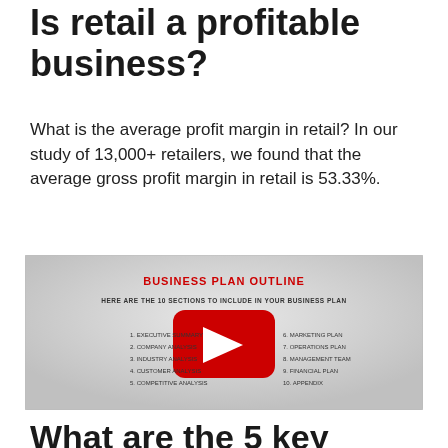Is retail a profitable business?
What is the average profit margin in retail? In our study of 13,000+ retailers, we found that the average gross profit margin in retail is 53.33%.
[Figure (screenshot): YouTube video thumbnail showing a 'Business Plan Outline' slide with a red YouTube play button overlay. The slide lists 10 sections of a business plan in two columns.]
What are the 5 key points to